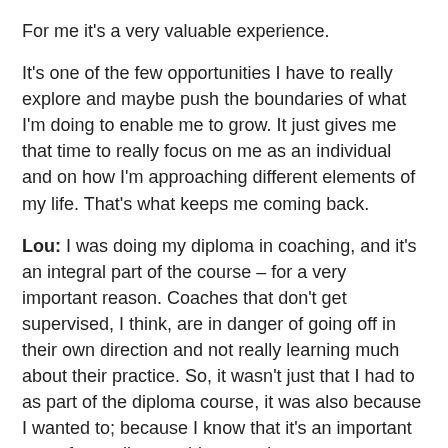For me it's a very valuable experience.
It's one of the few opportunities I have to really explore and maybe push the boundaries of what I'm doing to enable me to grow. It just gives me that time to really focus on me as an individual and on how I'm approaching different elements of my life. That's what keeps me coming back.
Lou: I was doing my diploma in coaching, and it's an integral part of the course – for a very important reason. Coaches that don't get supervised, I think, are in danger of going off in their own direction and not really learning much about their practice. So, it wasn't just that I had to as part of the diploma course, it was also because I wanted to; because I know that it's an important part of a quality coaching practice.
I keep coming back because I think that quality coaching is dependent on having quality supervision. That, and because something from my initial learning has been...